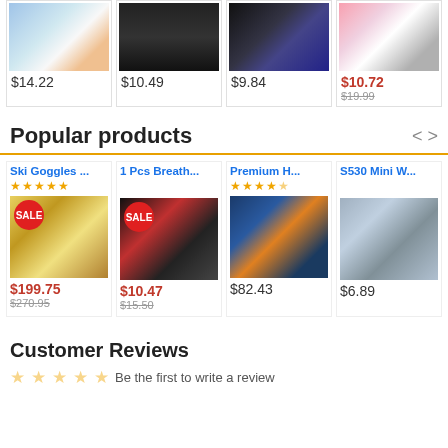[Figure (screenshot): Top row of 4 product thumbnails: smartwatch app icons, black mat, colorful keyboard, pink accessories kit]
$14.22
$10.49
$9.84
$10.72  $19.99
Popular products
Ski Goggles ...
★★★★★
$199.75  $270.95
1 Pcs Breath...
$10.47  $15.50
Premium H...
★★★★☆
$82.43
S530 Mini W...
$6.89
Customer Reviews
Be the first to write a review